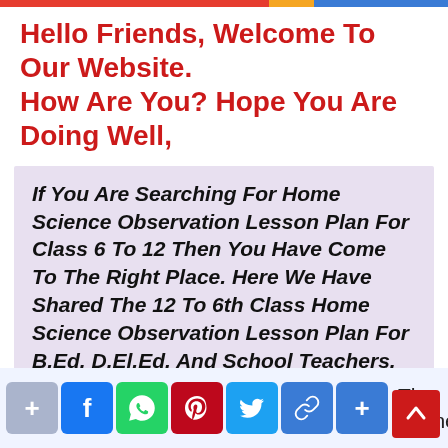Hello Friends, Welcome To Our Website. How Are You? Hope You Are Doing Well,
If You Are Searching For Home Science Observation Lesson Plan For Class 6 To 12 Then You Have Come To The Right Place. Here We Have Shared The 12 To 6th Class Home Science Observation Lesson Plan For B.Ed, D.El.Ed, And School Teachers.
This Home Science Observational Teaching Lesson Plan Is Specially Made For The B.Ed 1st The Trainee Of All Cl...